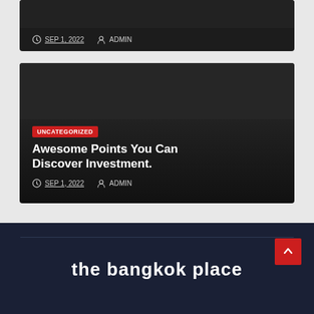SEP 1, 2022  ADMIN
[Figure (screenshot): Dark card with UNCATEGORIZED badge and article title 'Awesome Points You Can Discover Investment.']
UNCATEGORIZED
Awesome Points You Can Discover Investment.
SEP 1, 2022  ADMIN
the bangkok place